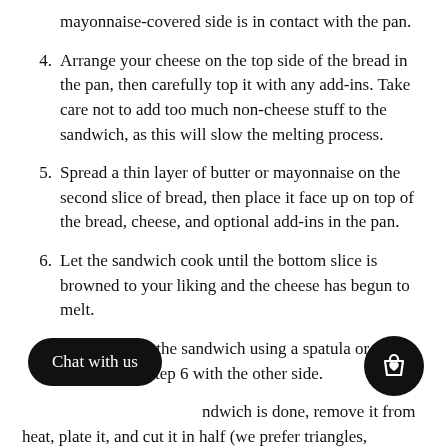(continuation) mayonnaise-covered side is in contact with the pan.
4. Arrange your cheese on the top side of the bread in the pan, then carefully top it with any add-ins. Take care not to add too much non-cheese stuff to the sandwich, as this will slow the melting process.
5. Spread a thin layer of butter or mayonnaise on the second slice of bread, then place it face up on top of the bread, cheese, and optional add-ins in the pan.
6. Let the sandwich cook until the bottom slice is browned to your liking and the cheese has begun to melt.
7. Carefully flip the sandwich using a spatula or [repeat] at Step 6 with the other side.
[When the sa]ndwich is done, remove it from [the] heat, plate it, and cut it in half (we prefer triangles, but you do you). Add any condiments or